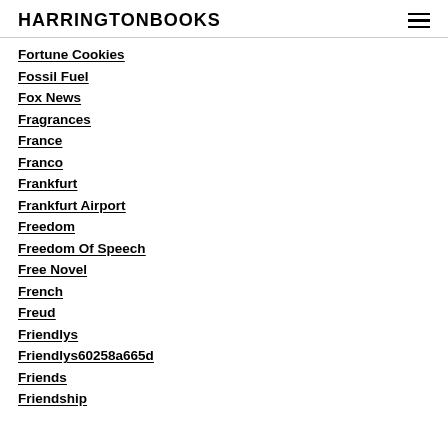HARRINGTONBOOKS
Fortune Cookies
Fossil Fuel
Fox News
Fragrances
France
Franco
Frankfurt
Frankfurt Airport
Freedom
Freedom Of Speech
Free Novel
French
Freud
Friendlys
Friendlys60258a665d
Friends
Friendship